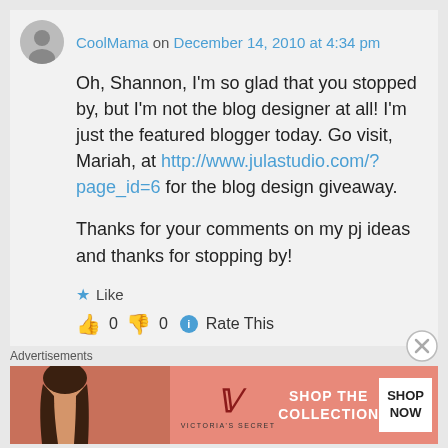CoolMama on December 14, 2010 at 4:34 pm
Oh, Shannon, I'm so glad that you stopped by, but I'm not the blog designer at all! I'm just the featured blogger today. Go visit, Mariah, at http://www.julastudio.com/?page_id=6 for the blog design giveaway.

Thanks for your comments on my pj ideas and thanks for stopping by!
★ Like
👍 0 👎 0 ℹ Rate This
Advertisements
[Figure (illustration): Victoria's Secret advertisement banner with model, VS logo, 'SHOP THE COLLECTION' text, and 'SHOP NOW' button]